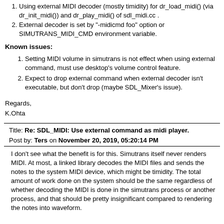Using external MIDI decoder (mostly timidity) for dr_load_midi() (via dr_init_midi()) and dr_play_midi() of sdl_midi.cc .
External decoder is set by "-midicmd foo" option or SIMUTRANS_MIDI_CMD environment variable.
Known issues:
Setting MIDI volume in simutrans is not effect when using external command, must use desktop's volume control feature.
Expect to drop external command when external decoder isn't executable, but don't drop (maybe SDL_Mixer's issue).
Regards,
K.Ohta
Title: Re: SDL_MIDI: Use external command as midi player.
Post by: Ters on November 20, 2019, 05:20:14 PM
I don't see what the benefit is for this. Simutrans itself never renders MIDI. At most, a linked library decodes the MIDI files and sends the notes to the system MIDI device, which might be timidity. The total amount of work done on the system should be the same regardless of whether decoding the MIDI is done in the simutrans process or another process, and that should be pretty insignificant compared to rendering the notes into waveform.